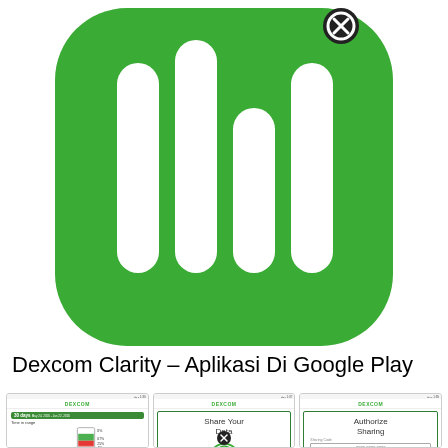[Figure (logo): Dexcom Clarity app icon — green rounded square with white bar chart bars, with a black X close button overlay at top right]
Dexcom Clarity – Aplikasi Di Google Play
[Figure (screenshot): Three Dexcom Clarity app screenshots showing: 1) 30-day time in range data, 2) Share Your Data screen, 3) Authorize Sharing screen with sharing code field]